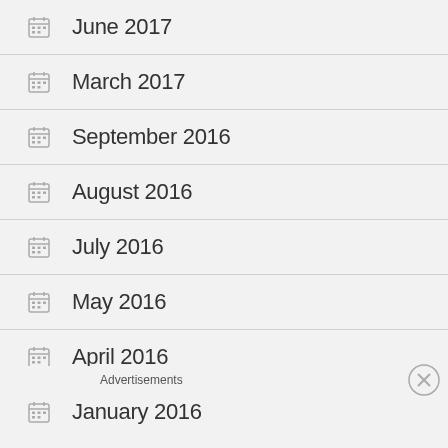June 2017
March 2017
September 2016
August 2016
July 2016
May 2016
April 2016
January 2016
Advertisements